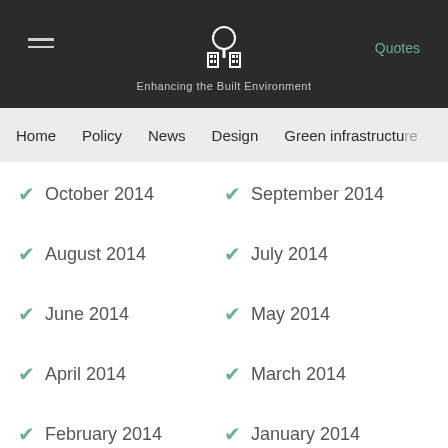Enhancing the Built Environment — Quotes
Home | Policy | News | Design | Green infrastructure
October 2014
September 2014
August 2014
July 2014
June 2014
May 2014
April 2014
March 2014
February 2014
January 2014